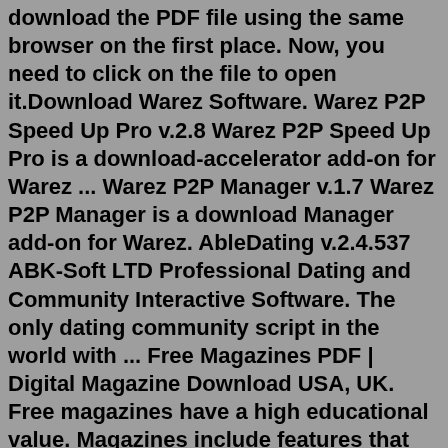download the PDF file using the same browser on the first place. Now, you need to click on the file to open it.Download Warez Software. Warez P2P Speed Up Pro v.2.8 Warez P2P Speed Up Pro is a download-accelerator add-on for Warez ... Warez P2P Manager v.1.7 Warez P2P Manager is a download Manager add-on for Warez. AbleDating v.2.4.537 ABK-Soft LTD Professional Dating and Community Interactive Software. The only dating community script in the world with ... Free Magazines PDF | Digital Magazine Download USA, UK. Free magazines have a high educational value. Magazines include features that delve into specific topics, such as Hobbies, Technology, Sciences, Computers, Fitness, Cooking, Men and Women's Magazines, etc.. Some magazines publish quarterly issues, which allow subscribers to read both ...PDFsharp is the Open Source library that easily creates PDF documents from any .NET language. The same drawing routines can be used to create PDF documents, draw on the screen, or send output to any printer. Version 1.30 is now available. It